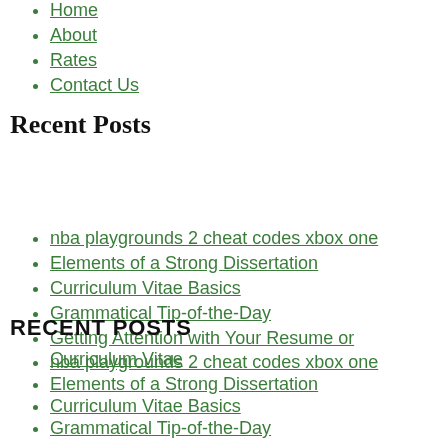Home
About
Rates
Contact Us
Recent Posts
nba playgrounds 2 cheat codes xbox one
Elements of a Strong Dissertation
Curriculum Vitae Basics
Grammatical Tip-of-the-Day
Getting Attention with Your Resume or Curriculum Vitae
RECENT POSTS
nba playgrounds 2 cheat codes xbox one
Elements of a Strong Dissertation
Curriculum Vitae Basics
Grammatical Tip-of-the-Day
Getting Attention with Your Resume or Curriculum Vitae